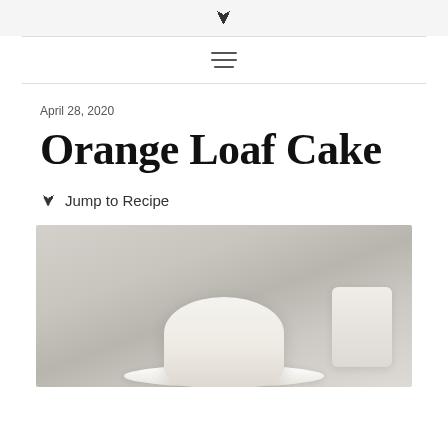▾
≡
April 28, 2020
Orange Loaf Cake
✓ Jump to Recipe
[Figure (photo): A white glazed orange loaf cake on a plate, photographed from above on a marble or light stone surface, partial view of another dish visible at right.]